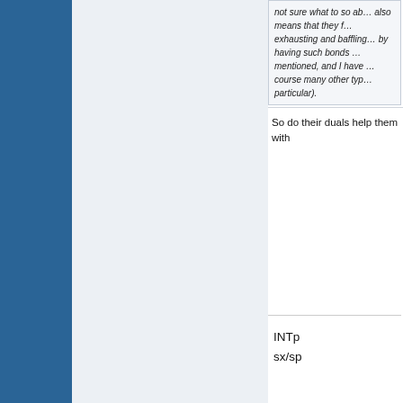not sure what to so ab... also means that they f... exhausting and baffling... by having such bonds ... mentioned, and I have ... course many other typ... particular).
So do their duals help them with
INTp
sx/sp
02-07-2007, 08:46 AM
Phaedrus
Join Date: Mar 2006
Location: Sweden
Posts: 4,833
Mentioned: 7 Post(s)
Originally Posted b...
So, basically, the hid... IXTps look for establis...